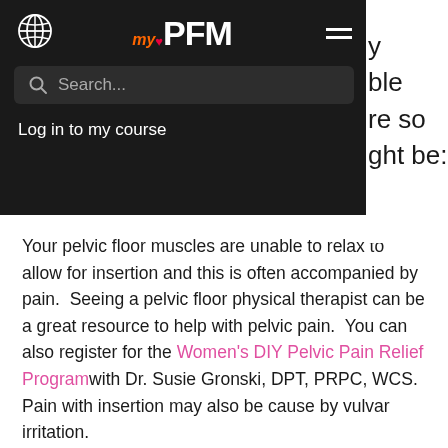myPFM — navigation bar with globe icon, search bar, and Log in to my course link
Your pelvic floor muscles are unable to relax to allow for insertion and this is often accompanied by pain.  Seeing a pelvic floor physical therapist can be a great resource to help with pelvic pain.  You can also register for the Women's DIY Pelvic Pain Relief Programwith Dr. Susie Gronski, DPT, PRPC, WCS.  Pain with insertion may also be cause by vulvar irritation.